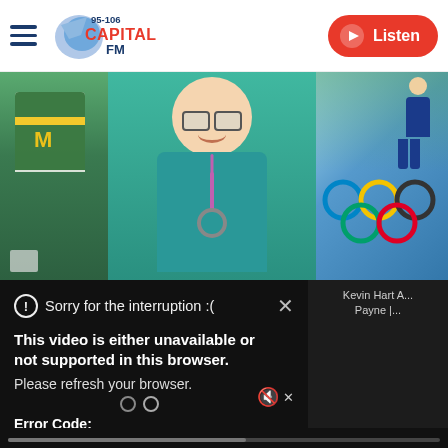[Figure (screenshot): Capital FM 95-106 website header with hamburger menu, Capital FM logo, and red Listen button with play icon]
[Figure (photo): Hero image collage showing: left panel with cheerleader in green and yellow uniform with M letter, center panel with smiling person in teal medical scrubs with stethoscope, right panel with athlete jumping over Olympic rings]
Sorry for the interruption :(
This video is either unavailable or not supported in this browser. Please refresh your browser.
Error Code: MEDIA ERR SRC NOT SUPPORTED
Kevin Hart A... Payne |...